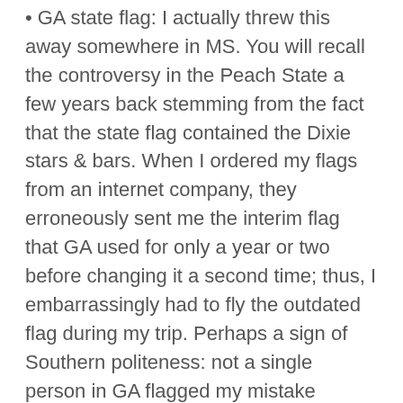GA state flag: I actually threw this away somewhere in MS. You will recall the controversy in the Peach State a few years back stemming from the fact that the state flag contained the Dixie stars & bars. When I ordered my flags from an internet company, they erroneously sent me the interim flag that GA used for only a year or two before changing it a second time; thus, I embarrassingly had to fly the outdated flag during my trip. Perhaps a sign of Southern politeness: not a single person in GA flagged my mistake
Things Broken & Fixed
I was  lucky in that, apart from flat